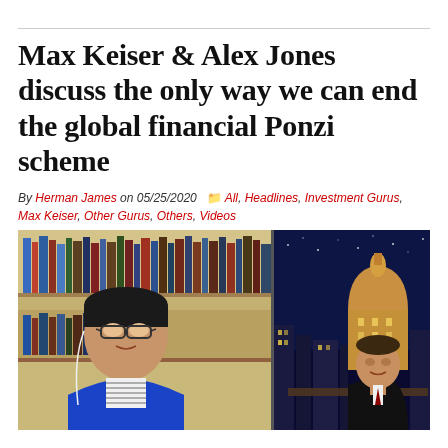Max Keiser & Alex Jones discuss the only way we can end the global financial Ponzi scheme
By Herman James on 05/25/2020  All, Headlines, Investment Gurus, Max Keiser, Other Gurus, Others, Videos
[Figure (photo): Split screen image: left side shows Max Keiser in a blue jacket with striped shirt on a video call with bookshelves behind him; right side shows Alex Jones in a black suit sitting at a desk with a city skyline backdrop featuring a domed building.]